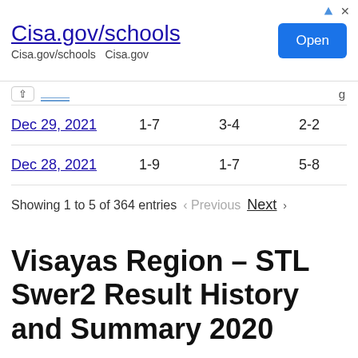[Figure (screenshot): Advertisement banner for Cisa.gov/schools with an Open button]
| Date | Col1 | Col2 | Col3 |
| --- | --- | --- | --- |
| Dec 29, 2021 | 1-7 | 3-4 | 2-2 |
| Dec 28, 2021 | 1-9 | 1-7 | 5-8 |
Showing 1 to 5 of 364 entries  < Previous  Next >
Visayas Region – STL Swer2 Result History and Summary 2020